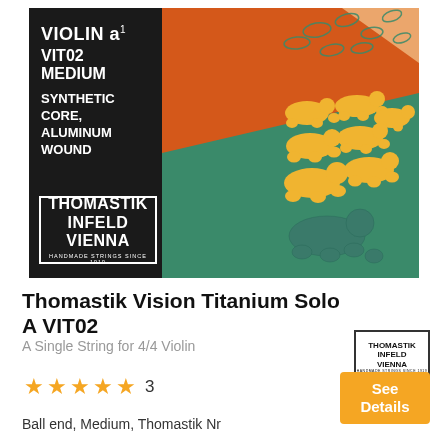[Figure (photo): Thomastik Infeld Vienna violin string packaging. Left panel is black with white text: VIOLIN a1, VIT02, MEDIUM, SYNTHETIC CORE, ALUMINUM WOUND. Bottom left has Thomastik Infeld Vienna logo in bordered box. Right panel shows orange and teal artwork with illustrated bears/fish in Escher-like tessellation.]
Thomastik Vision Titanium Solo A VIT02
A Single String for 4/4 Violin
[Figure (logo): Thomastik Infeld Vienna small logo in bordered box]
★★★★★ 3
Ball end, Medium, Thomastik Nr
See Details